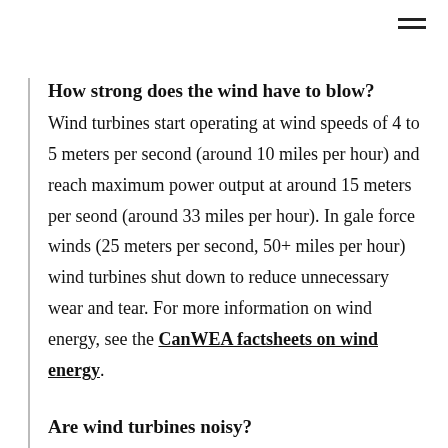How strong does the wind have to blow?
Wind turbines start operating at wind speeds of 4 to 5 meters per second (around 10 miles per hour) and reach maximum power output at around 15 meters per seond (around 33 miles per hour). In gale force winds (25 meters per second, 50+ miles per hour) wind turbines shut down to reduce unnecessary wear and tear. For more information on wind energy, see the CanWEA factsheets on wind energy.
Are wind turbines noisy?
Since wind turbines are large mechanical equipment, they can be expected to produce noise.